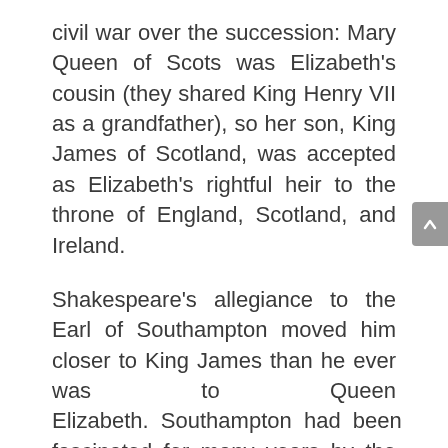civil war over the succession: Mary Queen of Scots was Elizabeth's cousin (they shared King Henry VII as a grandfather), so her son, King James of Scotland, was accepted as Elizabeth's rightful heir to the throne of England, Scotland, and Ireland.
Shakespeare's allegiance to the Earl of Southampton moved him closer to King James than he ever was to Queen Elizabeth. Southampton had been fascinated for many years by the King and Scotland in general, spending time and money on the northern monarch and teaching him the ways of the English Court. This friendship resulted in his